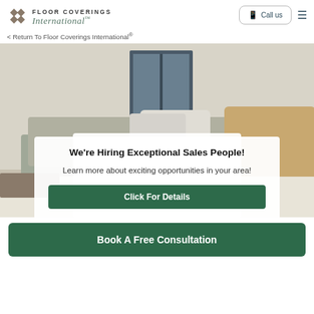Floor Coverings International
< Return To Floor Coverings International®
[Figure (photo): Interior home living room scene with sofa, pillows, and window in background]
We're Hiring Exceptional Sales People!
Learn more about exciting opportunities in your area!
Click For Details
Book A Free Consultation